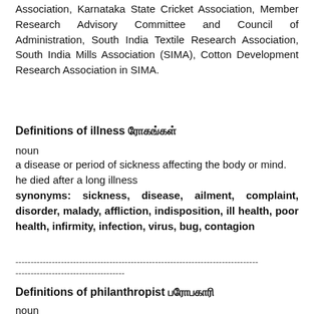Association, Karnataka State Cricket Association, Member Research Advisory Committee and Council of Administration, South India Textile Research Association, South India Mills Association (SIMA), Cotton Development Research Association in SIMA.
Definitions of illness ரோகங்கள்
noun
a disease or period of sickness affecting the body or mind.
he died after a long illness
synonyms: sickness, disease, ailment, complaint, disorder, malady, affliction, indisposition, ill health, poor health, infirmity, infection, virus, bug, contagion
--------------------------------------------------------------------------------
------------------------------------
Definitions of philanthropist பரோபகாரி
noun